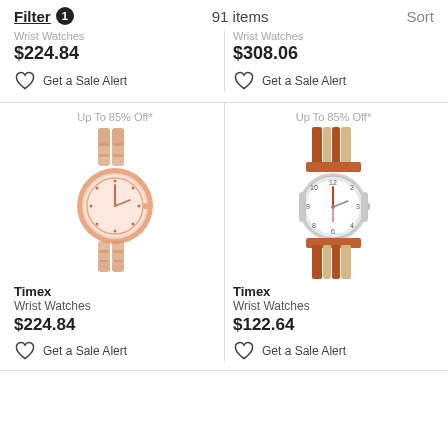Filter 1   91 items   Sort
Wrist Watches
$224.84
Get a Sale Alert
Wrist Watches
$308.06
Get a Sale Alert
[Figure (photo): Rose gold Timex wrist watch with bracelet band, label: Up To 85% Off*]
[Figure (photo): Timex wrist watch with brown and tan striped leather band, label: Up To 85% Off*]
Timex
Wrist Watches
$224.84
Get a Sale Alert
Timex
Wrist Watches
$122.64
Get a Sale Alert